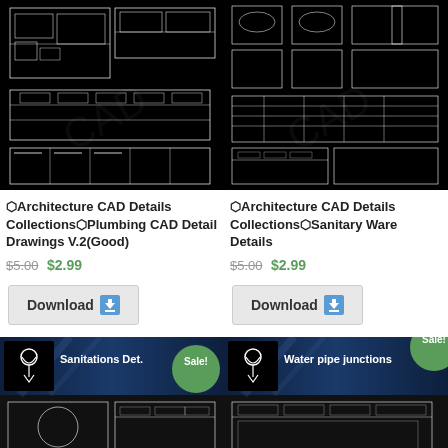[Figure (schematic): Architecture CAD Details - Plumbing CAD drawings on black background]
[Figure (schematic): Architecture CAD Details - Sanitary Ware Details on black background]
⬡Architecture CAD Details Collections⬡Plumbing CAD Detail Drawings V.2(Good)
⬡Architecture CAD Details Collections⬡Sanitary Ware Details
$5.00 $2.99
$5.00 $2.99
Download
Download
[Figure (schematic): Sanitations Details CAD drawing with Sale! badge]
[Figure (schematic): Water pipe junctions CAD drawing with Sale! badge]